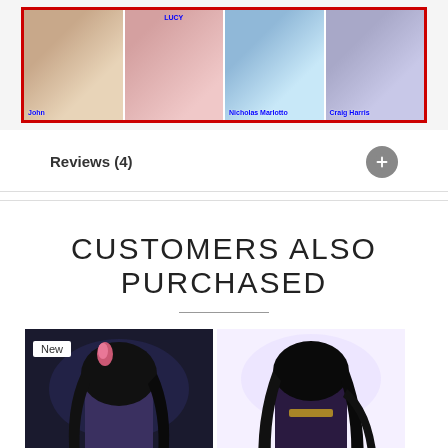[Figure (photo): Photo collage showing multiple people with name labels: John, Lucy, Nicholas Marlotto, Craig Harris, in a red-bordered frame]
Reviews (4)
CUSTOMERS ALSO PURCHASED
[Figure (photo): Two anime character product images shown side by side, left image has a 'New' badge, both showing an anime girl with dark hair in purple/grey outfit]